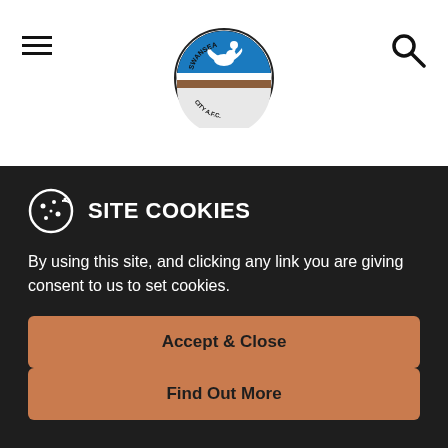[Figure (logo): Swansea City AFC circular badge logo with swan and blue/brown colors]
Meanwhile, for Liverpool boss Jurgen Klopp it was a far more disappointing afternoon.
"We didn't play as well as we could," said Klopp. "We tried to bring fresh legs and fresh minds. I'm disappointed
SITE COOKIES
By using this site, and clicking any link you are giving consent to us to set cookies.
Accept & Close
Find Out More